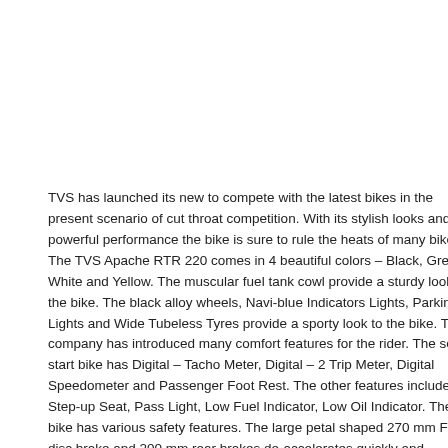TVS has launched its new to compete with the latest bikes in the present scenario of cut throat competition. With its stylish looks and powerful performance the bike is sure to rule the heats of many bikers. The TVS Apache RTR 220 comes in 4 beautiful colors – Black, Grey, White and Yellow. The muscular fuel tank cowl provide a sturdy look to the bike. The black alloy wheels, Navi-blue Indicators Lights, Parking Lights and Wide Tubeless Tyres provide a sporty look to the bike. The company has introduced many comfort features for the rider. The self start bike has Digital – Tacho Meter, Digital – 2 Trip Meter, Digital Speedometer and Passenger Foot Rest. The other features include Step-up Seat, Pass Light, Low Fuel Indicator, Low Oil Indicator. The bike has various safety features. The large petal shaped 270 mm Front disc brake and 200 mm rear brakes de-accelerates quickly and increases safety. Location of switches is a very important and accessible at the handles, without distracting the eyes from road. The bike is equipped with rear suspension system with new generation Poly shock absorbers that reduce the vibrations for a comfortable ride. The bike has Telescopic Forks, 105 mm Stroke front shock absorbers – Non inverted, Gas Filled Shox (MIG) with Spring Aid rear shock absorbers. TVS offers two engine variants. The base variant has 159.7 cc, 4-stroke, Air cooled, Single Cylinder engine and a 5 speed manual transmission gearbox. The engine produces a maximum power